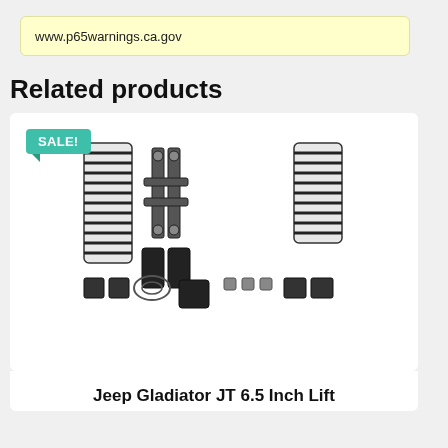www.p65warnings.ca.gov
Related products
[Figure (photo): Jeep Gladiator JT 6.5 Inch lift kit components including coil springs, control arms, and brackets laid out on white background. A teal SALE! badge is shown in the upper left corner of the product card.]
Jeep Gladiator JT 6.5 Inch Lift Kit...